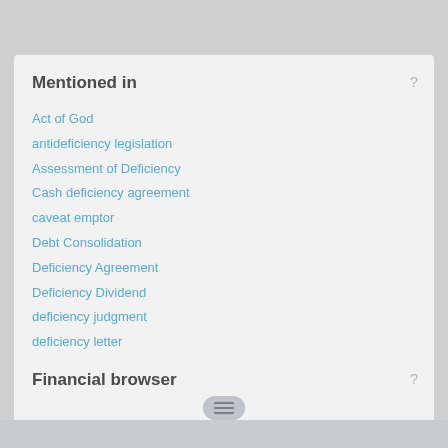Mentioned in
Act of God
antideficiency legislation
Assessment of Deficiency
Cash deficiency agreement
caveat emptor
Debt Consolidation
Deficiency Agreement
Deficiency Dividend
deficiency judgment
deficiency letter
deflationary gap
deindustrialization
Financial browser